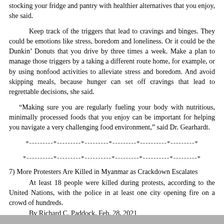stocking your fridge and pantry with healthier alternatives that you enjoy, she said.
Keep track of the triggers that lead to cravings and binges. They could be emotions like stress, boredom and loneliness. Or it could be the Dunkin’ Donuts that you drive by three times a week. Make a plan to manage those triggers by a taking a different route home, for example, or by using nonfood activities to alleviate stress and boredom. And avoid skipping meals, because hunger can set off cravings that lead to regrettable decisions, she said.
“Making sure you are regularly fueling your body with nutritious, minimally processed foods that you enjoy can be important for helping you navigate a very challenging food environment,” said Dr. Gearhardt.
*---------*---------*---------*---------*----------*---------*
*----------*---------*----------*---------*----------*---------*
7) More Protesters Are Killed in Myanmar as Crackdown Escalates
At least 18 people were killed during protests, according to the United Nations, with the police in at least one city opening fire on a crowd of hundreds.
By Richard C. Paddock, Feb. 28, 2021
https://www.nytimes.com/2021/02/28/world/asia/myanmar-protests.html?action=click&module=Well&pgtype=Homepage&section=World%20News